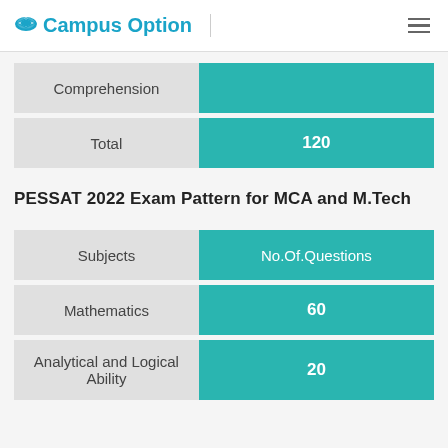Campus Option
| Subjects | No.Of.Questions |
| --- | --- |
| Comprehension |  |
| Total | 120 |
PESSAT 2022 Exam Pattern for MCA and M.Tech
| Subjects | No.Of.Questions |
| --- | --- |
| Mathematics | 60 |
| Analytical and Logical Ability | 20 |